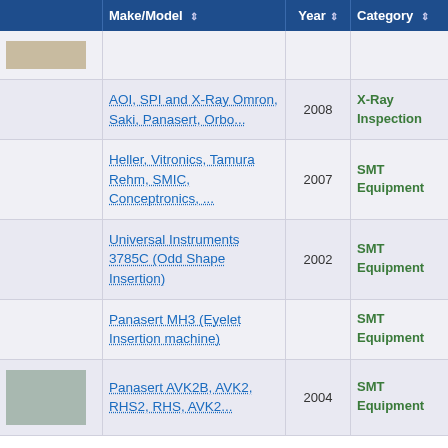|  | Make/Model | Year | Category | Seller |
| --- | --- | --- | --- | --- |
| [image] |  |  |  |  |
|  | AOI, SPI and X-Ray
Omron, Saki, Panasert, Orbo... | 2008 | X-Ray Inspection | CS Tec |
|  | Heller, Vitronics, Tamura Rehm, SMIC, Conceptronics, ... | 2007 | SMT Equipment | CS Tec |
|  | Universal Instruments 3785C (Odd Shape Insertion) | 2002 | SMT Equipment | CS Tec |
|  | Panasert MH3 (Eyelet Insertion machine) |  | SMT Equipment | CS Tec |
| [image] | Panasert AVK2B, AVK2, RHS2, RHS, AVK2... | 2004 | SMT Equipment | CS Tec |